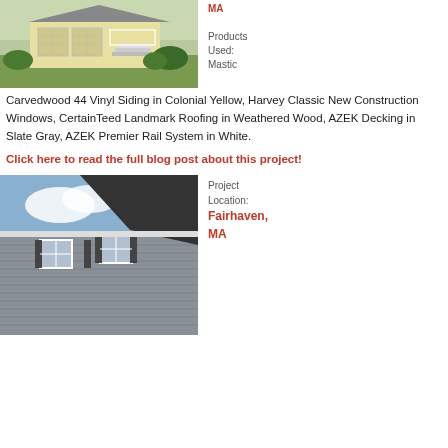[Figure (photo): Exterior photo of a yellow single-story house with white trim, white porch railing, and a two-car garage surrounded by green lawn and shrubs.]
Products Used: Mastic Carvedwood 44 Vinyl Siding in Colonial Yellow, Harvey Classic New Construction Windows, CertainTeed Landmark Roofing in Weathered Wood, AZEK Decking in Slate Gray, AZEK Premier Rail System in White.
Click here to read the full blog post about this project!
[Figure (photo): Close-up exterior photo of a two-story grey vinyl sided house with dark shuttered windows, white trim, and a dark shingled roof against a blue sky.]
Project Location: Fairhaven, MA